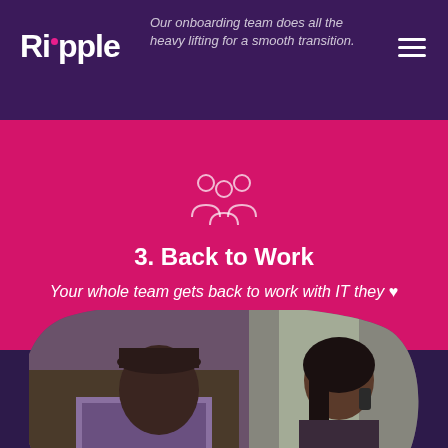Our onboarding team does all the heavy lifting for a smooth transition.
Ripple
3. Back to Work
Your whole team gets back to work with IT they ♥
[Figure (photo): Two office workers collaborating — a man in a plaid shirt laughing and a woman on a phone call, shown inside a rounded blob shape on a dark purple background]